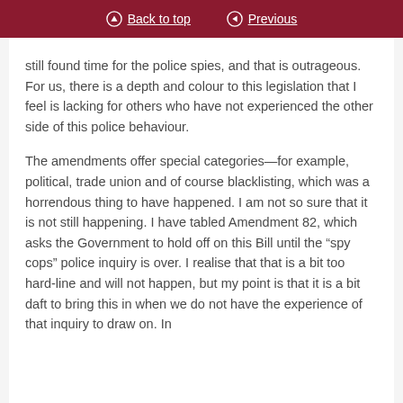Back to top | Previous
still found time for the police spies, and that is outrageous. For us, there is a depth and colour to this legislation that I feel is lacking for others who have not experienced the other side of this police behaviour.
The amendments offer special categories—for example, political, trade union and of course blacklisting, which was a horrendous thing to have happened. I am not so sure that it is not still happening. I have tabled Amendment 82, which asks the Government to hold off on this Bill until the “spy cops” police inquiry is over. I realise that that is a bit too hard-line and will not happen, but my point is that it is a bit daft to bring this in when we do not have the experience of that inquiry to draw on. In